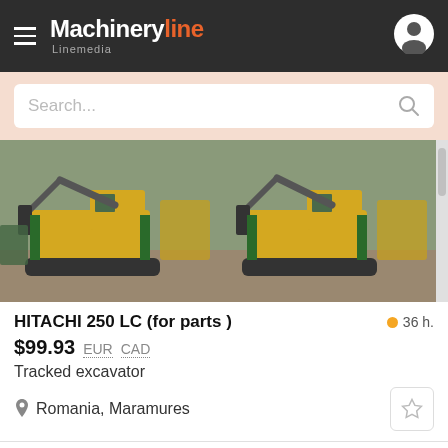Machineryline Linemedia
Search...
[Figure (photo): Two tracked excavators (Hitachi) side by side in a yard, yellow and green color, viewed from front-left angle]
HITACHI 250 LC (for parts )
36 h.
$99.93  EUR  CAD
Tracked excavator
Romania, Maramures
[Figure (photo): Two orange Hitachi excavators side by side against blue sky background, partial view showing booms]